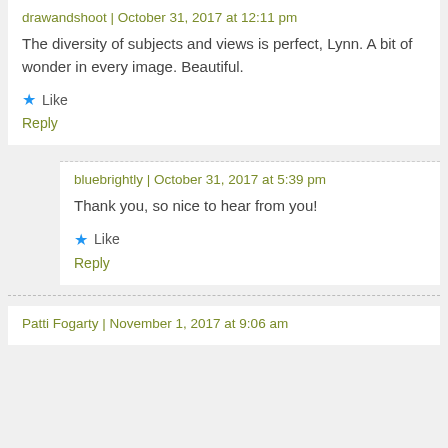drawandshoot | October 31, 2017 at 12:11 pm
The diversity of subjects and views is perfect, Lynn. A bit of wonder in every image. Beautiful.
Like
Reply
bluebrightly | October 31, 2017 at 5:39 pm
Thank you, so nice to hear from you!
Like
Reply
Patti Fogarty | November 1, 2017 at 9:06 am